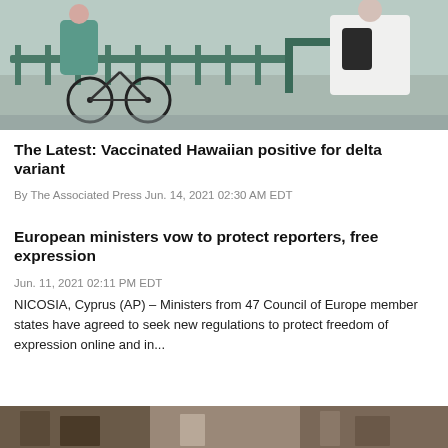[Figure (photo): Street scene with a bicycle and iron fence, person wearing white t-shirt with backpack on the right]
The Latest: Vaccinated Hawaiian positive for delta variant
By The Associated Press Jun. 14, 2021 02:30 AM EDT
European ministers vow to protect reporters, free expression
Jun. 11, 2021 02:11 PM EDT
NICOSIA, Cyprus (AP) – Ministers from 47 Council of Europe member states have agreed to seek new regulations to protect freedom of expression online and in...
[Figure (photo): Partial view of a scene, bottom of page]